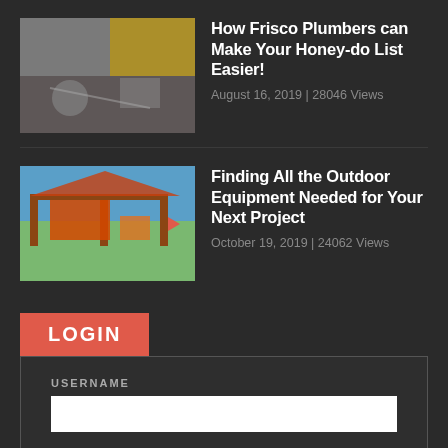[Figure (photo): Thumbnail image of a plumber working on pipes]
How Frisco Plumbers can Make Your Honey-do List Easier!
August 16, 2019 | 28046 Views
[Figure (photo): Thumbnail image of outdoor playground equipment]
Finding All the Outdoor Equipment Needed for Your Next Project
October 19, 2019 | 24062 Views
LOGIN
USERNAME
PASSWORD
Login →
Lost Your Password?